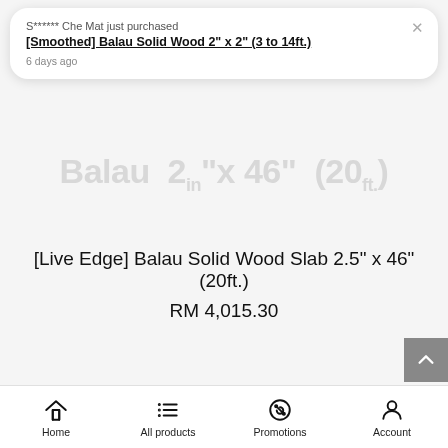S****** Che Mat just purchased
[Smoothed] Balau Solid Wood 2" x 2" (3 to 14ft.)
6 days ago
Balau 2in"x 46" (20ft.)
[Live Edge] Balau Solid Wood Slab 2.5" x 46" (20ft.)
RM 4,015.30
Home | All products | Promotions | Account